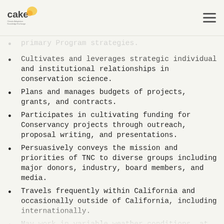CAKE – Climate Adaptation Knowledge Exchange
primary Program strategies.
Cultivates and leverages strategic individual and institutional relationships in conservation science.
Plans and manages budgets of projects, grants, and contracts.
Participates in cultivating funding for Conservancy projects through outreach, proposal writing, and presentations.
Persuasively conveys the mission and priorities of TNC to diverse groups including major donors, industry, board members, and media.
Travels frequently within California and occasionally outside of California, including internationally.
May work in variable weather conditions, at remote locations, on difficult and